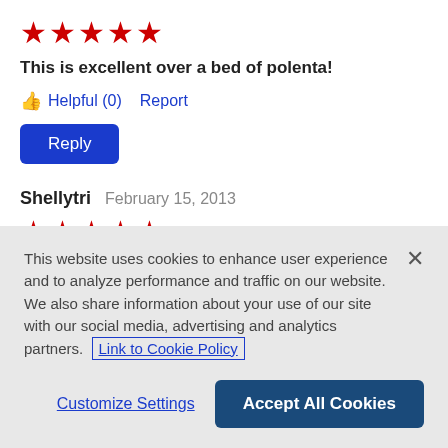[Figure (other): Five red star rating icons]
This is excellent over a bed of polenta!
👍 Helpful (0)   Report
Reply
Shellytri   February 15, 2013
[Figure (other): Five red star rating icons]
This recipe deserves higher than the 5 spoons allowed. Made it for a Valentine's Day meal for my husband and
This website uses cookies to enhance user experience and to analyze performance and traffic on our website. We also share information about your use of our site with our social media, advertising and analytics partners. Link to Cookie Policy
Customize Settings
Accept All Cookies